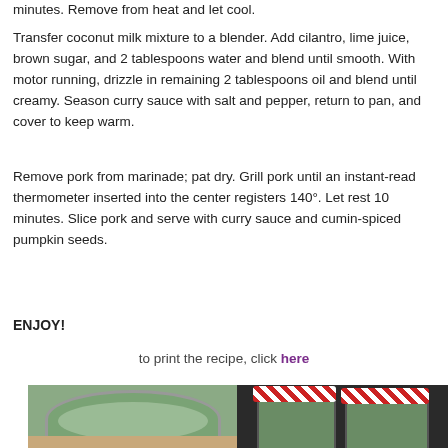minutes. Remove from heat and let cool.
Transfer coconut milk mixture to a blender. Add cilantro, lime juice, brown sugar, and 2 tablespoons water and blend until smooth. With motor running, drizzle in remaining 2 tablespoons oil and blend until creamy. Season curry sauce with salt and pepper, return to pan, and cover to keep warm.
Remove pork from marinade; pat dry. Grill pork until an instant-read thermometer inserted into the center registers 140°. Let rest 10 minutes. Slice pork and serve with curry sauce and cumin-spiced pumpkin seeds.
ENJOY!
to print the recipe, click here
[Figure (photo): Two photos side by side: left shows a glass jar with green curry sauce; right shows two glass jars with red checkered lids containing green curry sauce.]